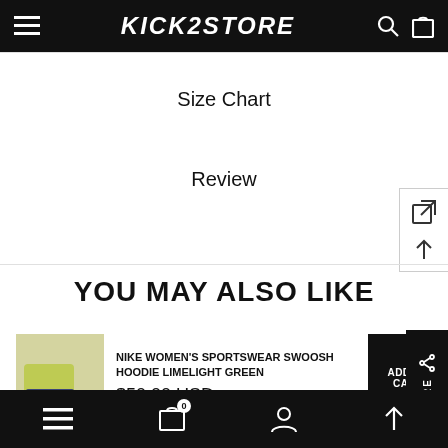KICK2STORE
Size Chart
Review
YOU MAY ALSO LIKE
NIKE WOMEN'S SPORTSWEAR SWOOSH HOODIE LIMELIGHT GREEN
$50.00 USD
Bottom navigation bar